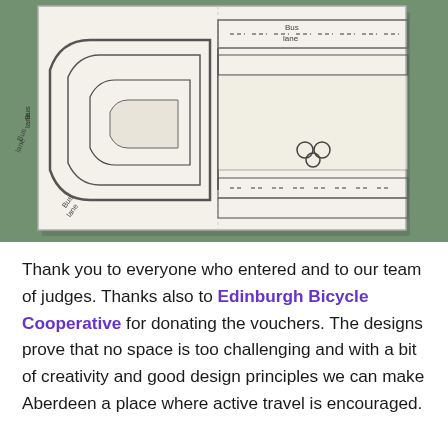[Figure (photo): Photograph of a hand-drawn sketch on paper showing a road junction/roundabout design. The sketch shows bus lanes labeled 'Bus lane' on multiple sides, a roundabout with circular road markings, bicycle symbols, and dashed road markings. The paper is placed on a green/grey surface.]
Thank you to everyone who entered and to our team of judges. Thanks also to Edinburgh Bicycle Cooperative for donating the vouchers. The designs prove that no space is too challenging and with a bit of creativity and good design principles we can make Aberdeen a place where active travel is encouraged.